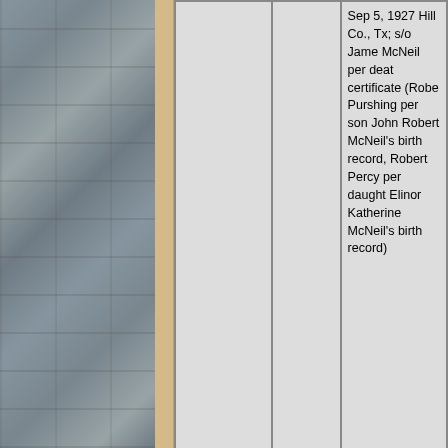| Name | Source | Dates & Details |
| --- | --- | --- |
|  |  | Sep 5, 1927 Hill Co., Tx; s/o James McNeil per death certificate (Robert Purshing per son John Robert McNeil's birth record, Robert Percy per daughter Elinor Katherine McNeil's birth record) |
| Anna Eleanor "Jackie" (Greenup) McNeill | Obituary | Jul 21, 1916 - Feb 4, 2018
w/o Martin Griffith McNeill; d/o Phillip James Greenup & Fanny May (Owens) Greenup |
| Donald Ray “Billy” McNeill |  | Aug 3, 1935 - Mar 27, 2002
s/o Wheeler McNeill and Pol (Maynard) McNe |
| Martin Griffith |  | Aug 30, 191 |